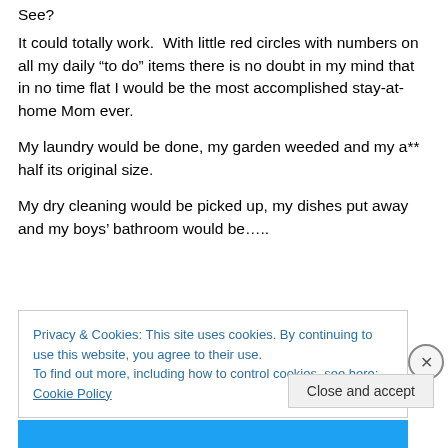See?
It could totally work.  With little red circles with numbers on all my daily “to do” items there is no doubt in my mind that in no time flat I would be the most accomplished stay-at-home Mom ever.
My laundry would be done, my garden weeded and my a** half its original size.
My dry cleaning would be picked up, my dishes put away and my boys’ bathroom would be…..
Privacy & Cookies: This site uses cookies. By continuing to use this website, you agree to their use.
To find out more, including how to control cookies, see here: Cookie Policy
Close and accept